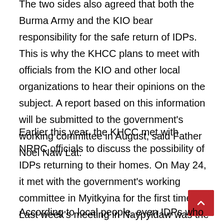The two sides also agreed that both the Burma Army and the KIO bear responsibility for the safe return of IDPs. This is why the KHCC plans to meet with officials from the KIO and other local organizations to hear their opinions on the subject. A report based on this information will be submitted to the government's working committee in August, said Father Noel Naw Lat.
Earlier this year, the KHCC met with NRPC officials to discuss the possibility of IDPs returning to their homes. On May 24, it met with the government's working committee in Myitkyina for the first time. Last week's meeting in Naypyidaw was the second between the two sides.
According to local people, even IDPs who have returned to their homes continue to need assistance due to their